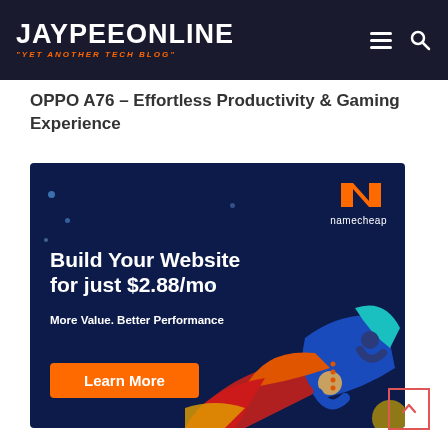JAYPEEONLINE — "YET ANOTHER TECH BLOG"
OPPO A76 – Effortless Productivity & Gaming Experience
[Figure (infographic): Namecheap advertisement banner with dark navy background. Orange N logo with 'namecheap' text in top right. Bold white text: 'Build Your Website for just $2.88/mo'. Subtext: 'More Value. Better Performance'. Orange 'Learn More' button at bottom left. Illustrated rocket and astronaut figures on the right side.]
Learn More